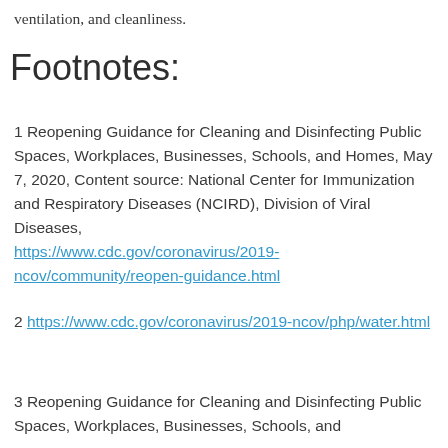ventilation, and cleanliness.
Footnotes:
1 Reopening Guidance for Cleaning and Disinfecting Public Spaces, Workplaces, Businesses, Schools, and Homes, May 7, 2020, Content source: National Center for Immunization and Respiratory Diseases (NCIRD), Division of Viral Diseases, https://www.cdc.gov/coronavirus/2019-ncov/community/reopen-guidance.html
2 https://www.cdc.gov/coronavirus/2019-ncov/php/water.html
3 Reopening Guidance for Cleaning and Disinfecting Public Spaces, Workplaces, Businesses, Schools, and